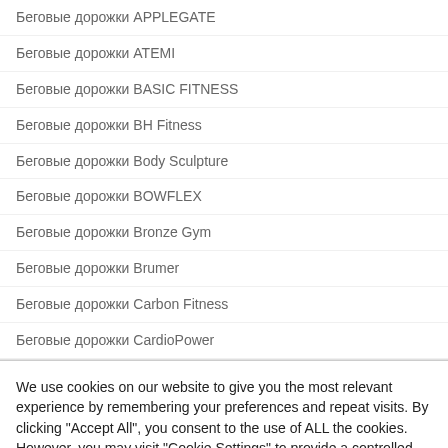Беговые дорожки APPLEGATE
Беговые дорожки ATEMI
Беговые дорожки BASIC FITNESS
Беговые дорожки BH Fitness
Беговые дорожки Body Sculpture
Беговые дорожки BOWFLEX
Беговые дорожки Bronze Gym
Беговые дорожки Brumer
Беговые дорожки Carbon Fitness
Беговые дорожки CardioPower
We use cookies on our website to give you the most relevant experience by remembering your preferences and repeat visits. By clicking "Accept All", you consent to the use of ALL the cookies. However, you may visit "Cookie Settings" to provide a controlled consent.
Cookie Settings | Accept All